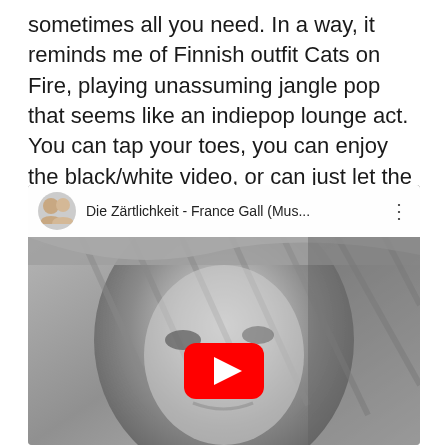sometimes all you need. In a way, it reminds me of Finnish outfit Cats on Fire, playing unassuming jangle pop that seems like an indiepop lounge act. You can tap your toes, you can enjoy the black/white video, or can just let the smooth sound wash over you…but either way, grab the new 7″ from KUS!
[Figure (screenshot): YouTube video embed showing a black and white close-up of a blonde woman's face. The video title bar reads 'Die Zärtlichkeit - France Gall (Mus...' with a channel avatar showing two men and a three-dot menu icon. A red YouTube play button is centered at the bottom of the frame.]